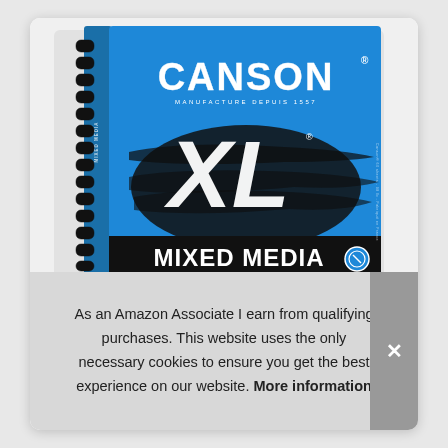[Figure (photo): Canson XL Mixed Media spiral-bound sketchbook with blue cover, showing the CANSON logo, XL branding in large handwritten letters, and MIXED MEDIA text at the bottom]
As an Amazon Associate I earn from qualifying purchases. This website uses the only necessary cookies to ensure you get the best experience on our website. More information